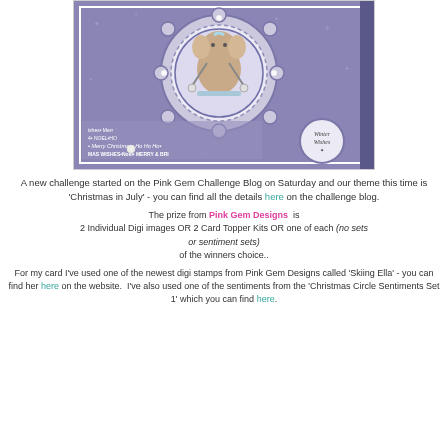[Figure (photo): A handmade greeting card featuring a cute elephant character (Skiing Ella) on skis inside a circular scalloped frame, with a blue/purple patterned background featuring snowflakes and Christmas text, and a small 'Winter Wishes' badge circle in the lower right.]
A new challenge started on the Pink Gem Challenge Blog on Saturday and our theme this time is 'Christmas in July' - you can find all the details here on the challenge blog.
The prize from Pink Gem Designs is 2 Individual Digi images OR 2 Card Topper Kits OR one of each (no sets or sentiment sets) of the winners choice..
For my card I've used one of the newest digi stamps from Pink Gem Designs called 'Skiing Ella' - you can find her here on the website. I've also used one of the sentiments from the 'Christmas Circle Sentiments Set 1' which you can find here.